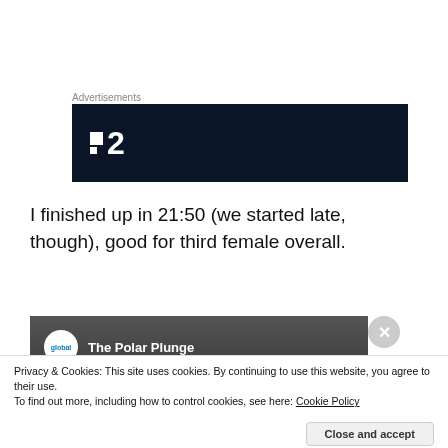Advertisements
[Figure (logo): Dark navy blue advertisement banner with white TV channel logo showing two squares and the number 2]
I finished up in 21:50 (we started late, though), good for third female overall.
[Figure (screenshot): Video thumbnail showing Global logo and partially visible title 'The Polar Plunge' with close button]
Privacy & Cookies: This site uses cookies. By continuing to use this website, you agree to their use.
To find out more, including how to control cookies, see here: Cookie Policy
Close and accept